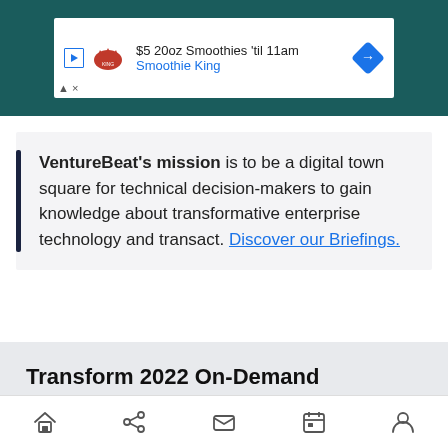[Figure (screenshot): Advertisement banner: $5 20oz Smoothies 'til 11am Smoothie King with play button, Smoothie King logo, and blue diamond arrow icon]
VentureBeat's mission is to be a digital town square for technical decision-makers to gain knowledge about transformative enterprise technology and transact. Discover our Briefings.
Transform 2022 On-Demand
Did you miss a session from Transform 2022? Head over to the on-demand library for all of our
Home Share Mail Calendar Profile (navigation icons)